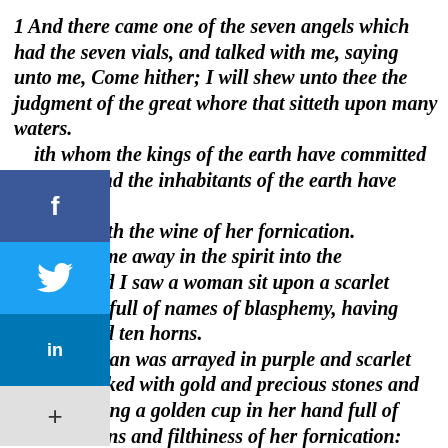1 And there came one of the seven angels which had the seven vials, and talked with me, saying unto me, Come hither; I will shew unto thee the judgment of the great whore that sitteth upon many waters. With whom the kings of the earth have committed fornication, and the inhabitants of the earth have been made drunk with the wine of her fornication. So he carried me away in the spirit into the wilderness: and I saw a woman sit upon a scarlet coloured beast, full of names of blasphemy, having seven heads and ten horns. And the woman was arrayed in purple and scarlet colour, and decked with gold and precious stones and pearls, having a golden cup in her hand full of abominations and filthiness of her fornication: 5 And upon her forehead was a name written, MYSTERY, BABYLON THE GREAT, THE MOTHER OF HARLOTS AND ABOMINATIONS OF THE EARTH. 6 And I saw the woman drunken with the blood of the saints, and with the blood of the martyrs of Jesus: and